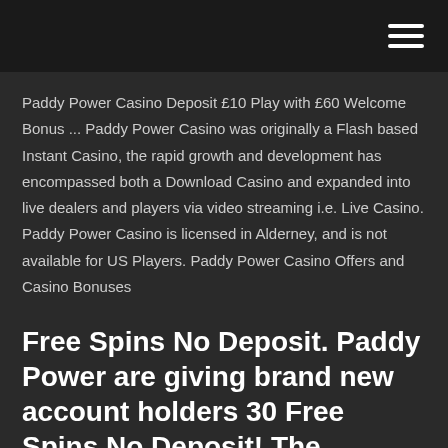Paddy Power Casino Deposit £10 Play with £60 Welcome Bonus ... Paddy Power Casino was originally a Flash based Instant Casino, the rapid growth and development has encompassed both a Download Casino and expanded into live dealers and players via video streaming i.e. Live Casino. Paddy Power Casino is licensed in Alderney, and is not available for US Players. Paddy Power Casino Offers and Casino Bonuses
Free Spins No Deposit. Paddy Power are giving brand new account holders 30 Free Spins No Deposit! The website is packed